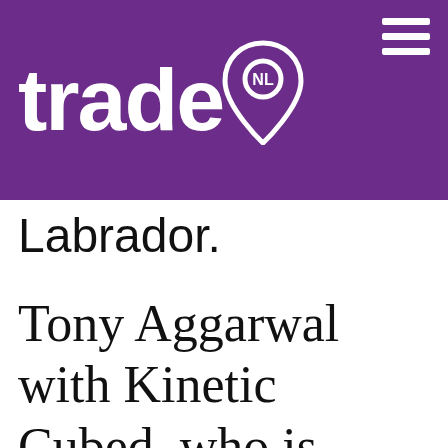[Figure (logo): TradeNL logo on purple header bar with hamburger menu icon]
Labrador.
Tony Aggarwal with Kinetic Cubed, who is